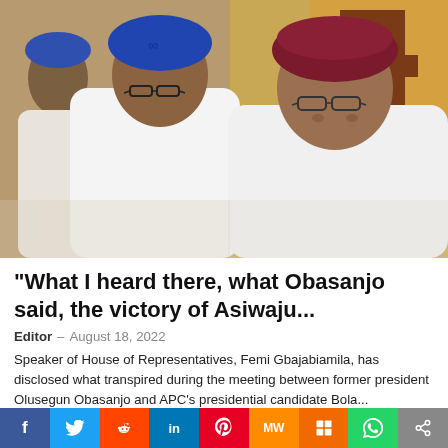[Figure (photo): Photo of three men in traditional Nigerian attire: background figure partially visible on left, center figure in blue cap and white garment with glasses (appears to be Bola Tinubu), right figure in dark maroon cap and white garment with glasses (appears to be Olusegun Obasanjo)]
“What I heard there, what Obasanjo said, the victory of Asiwaju…
Editor – August 18, 2022
Speaker of House of Representatives, Femi Gbajabiamila, has disclosed what transpired during the meeting between former president Olusegun Obasanjo and APC’s presidential candidate Bola…